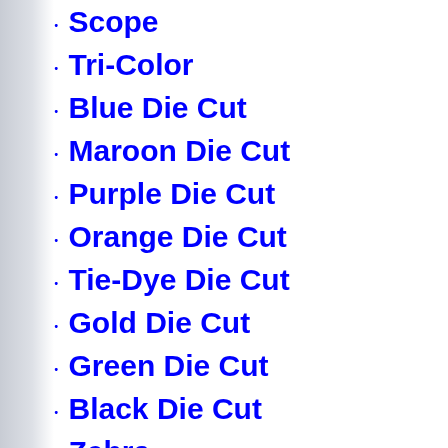Scope
Tri-Color
Blue Die Cut
Maroon Die Cut
Purple Die Cut
Orange Die Cut
Tie-Dye Die Cut
Gold Die Cut
Green Die Cut
Black Die Cut
Zebra